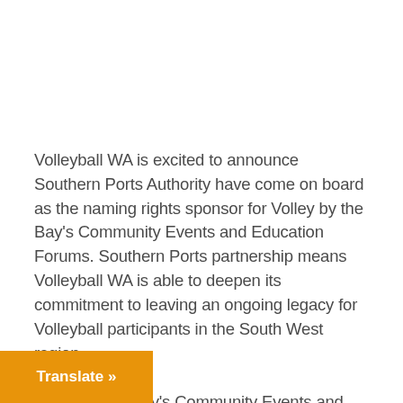Volleyball WA is excited to announce Southern Ports Authority have come on board as the naming rights sponsor for Volley by the Bay's Community Events and Education Forums. Southern Ports partnership means Volleyball WA is able to deepen its commitment to leaving an ongoing legacy for Volleyball participants in the South West region.
Volley by the Bay's Community Events and Education Forums comprise of six events in [...]  open to all members of the public.